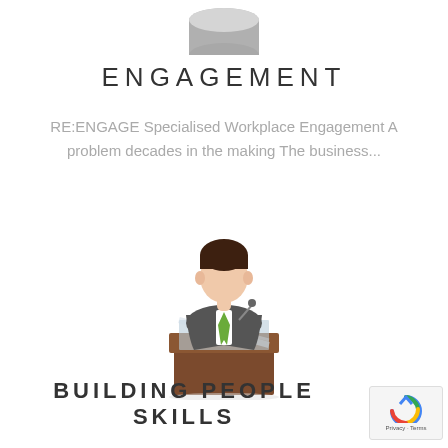[Figure (illustration): Partial grey cylindrical shape visible at top of page]
ENGAGEMENT
RE:ENGAGE Specialised Workplace Engagement A problem decades in the making The business...
[Figure (illustration): Flat style illustration of a businessman in a dark suit with green tie standing at a brown podium/lectern with a microphone]
BUILDING PEOPLE SKILLS